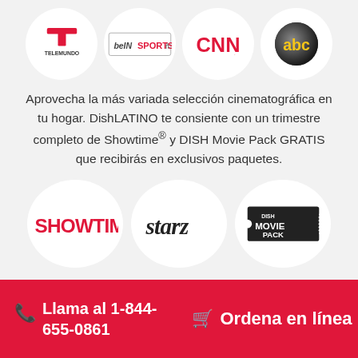[Figure (logo): Row of TV network logos: Telemundo, beIN Sports, CNN, ABC in white circles]
Aprovecha la más variada selección cinematográfica en tu hogar. DishLATINO te consiente con un trimestre completo de Showtime® y DISH Movie Pack GRATIS que recibirás en exclusivos paquetes.
[Figure (logo): Row of channel logos: Showtime, Starz, DISH Movie Pack in white circles]
Llama al 1-844-655-0861
Ordena en línea